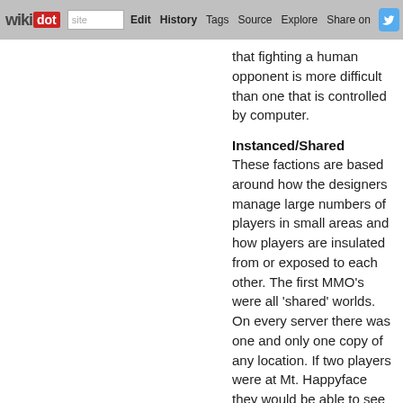wikidot | site | Edit | History | Tags | Source | Explore | Share on [Twitter]
that fighting a human opponent is more difficult than one that is controlled by computer.
Instanced/Shared
These factions are based around how the designers manage large numbers of players in small areas and how players are insulated from or exposed to each other. The first MMO's were all 'shared' worlds. On every server there was one and only one copy of any location. If two players were at Mt. Happyface they would be able to see and interact with each other. As developers tried to bring more and more people to single shards population control became a serious issue. When too many people gather in one place both